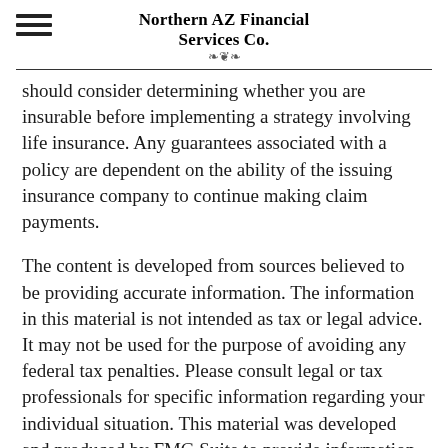Northern AZ Financial Services Co.
should consider determining whether you are insurable before implementing a strategy involving life insurance. Any guarantees associated with a policy are dependent on the ability of the issuing insurance company to continue making claim payments.
The content is developed from sources believed to be providing accurate information. The information in this material is not intended as tax or legal advice. It may not be used for the purpose of avoiding any federal tax penalties. Please consult legal or tax professionals for specific information regarding your individual situation. This material was developed and produced by FMG Suite to provide information on a topic that may be of interest. FMG, LLC, is not affiliated with the named b dealer, state- or SEC-registered investment advisory firm. The opinions expressed and material provided are for